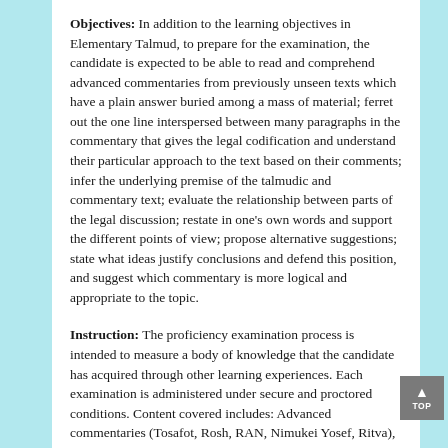Objectives: In addition to the learning objectives in Elementary Talmud, to prepare for the examination, the candidate is expected to be able to read and comprehend advanced commentaries from previously unseen texts which have a plain answer buried among a mass of material; ferret out the one line interspersed between many paragraphs in the commentary that gives the legal codification and understand their particular approach to the text based on their comments; infer the underlying premise of the talmudic and commentary text; evaluate the relationship between parts of the legal discussion; restate in one's own words and support the different points of view; propose alternative suggestions; state what ideas justify conclusions and defend this position, and suggest which commentary is more logical and appropriate to the topic.
Instruction: The proficiency examination process is intended to measure a body of knowledge that the candidate has acquired through other learning experiences. Each examination is administered under secure and proctored conditions. Content covered includes: Advanced commentaries (Tosafot, Rosh, RAN, Nimukei Yosef, Ritva), determining alternative interpretations, asking relevant...